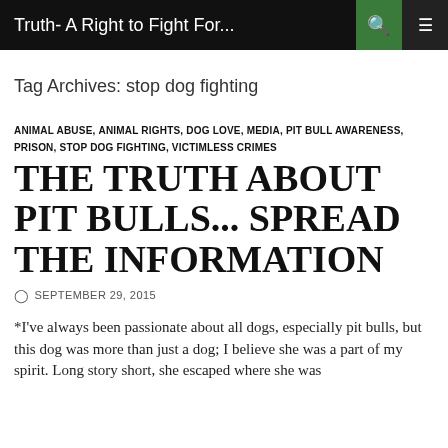Truth- A Right to Fight For...
Tag Archives: stop dog fighting
ANIMAL ABUSE, ANIMAL RIGHTS, DOG LOVE, MEDIA, PIT BULL AWARENESS, PRISON, STOP DOG FIGHTING, VICTIMLESS CRIMES
THE TRUTH ABOUT PIT BULLS... SPREAD THE INFORMATION
SEPTEMBER 29, 2015
*I've always been passionate about all dogs, especially pit bulls, but this dog was more than just a dog; I believe she was a part of my spirit. Long story short, she escaped where she was...